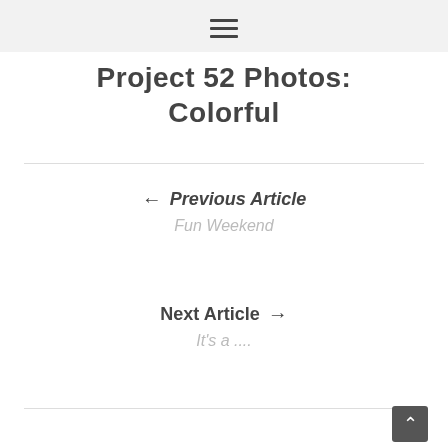≡
Project 52 Photos: Colorful
← Previous Article
Fun Weekend
Next Article →
It's a ....
^